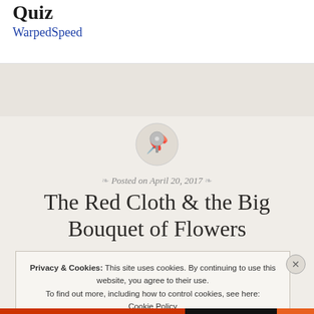Quiz
WarpedSpeed
[Figure (illustration): Pin/pushpin icon inside a light gray circle]
Posted on April 20, 2017
The Red Cloth & the Big Bouquet of Flowers
Privacy & Cookies: This site uses cookies. By continuing to use this website, you agree to their use. To find out more, including how to control cookies, see here: Cookie Policy
Close and accept